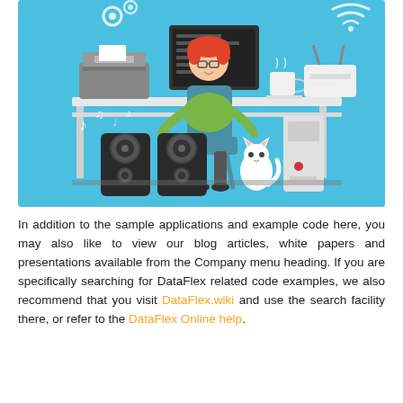[Figure (illustration): Flat vector illustration of a person with red hair sitting at a desk with a computer monitor, printer, speakers, a cat, a desktop tower, a coffee cup, and a wifi router on a light blue background.]
In addition to the sample applications and example code here, you may also like to view our blog articles, white papers and presentations available from the Company menu heading. If you are specifically searching for DataFlex related code examples, we also recommend that you visit DataFlex.wiki and use the search facility there, or refer to the DataFlex Online help.